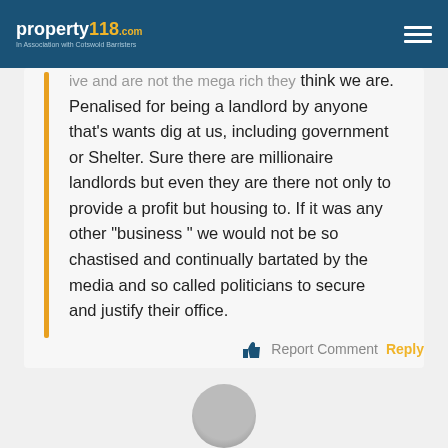property118.com | In Association with Cotswold Barristers
ive and are not the mega rich they think we are. Penalised for being a landlord by anyone that's wants dig at us, including government or Shelter. Sure there are millionaire landlords but even they are there not only to provide a profit but housing to. If it was any other "business " we would not be so chastised and continually bartated by the media and so called politicians to secure and justify their office.
Report Comment  Reply